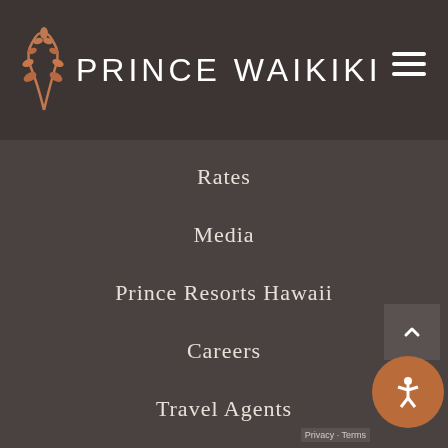[Figure (logo): Prince Waikiki hotel logo with decorative wheat/leaf icon in copper/terracotta and white text 'PRINCE WAIKIKI']
Rates
Media
Prince Resorts Hawaii
Careers
Travel Agents
Contact
Site Map